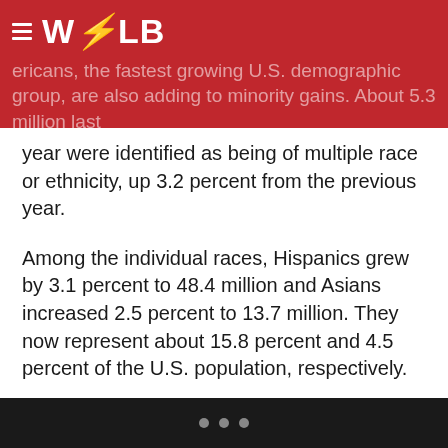WOLB — ericans, the fastest growing U.S. demographic group, are also adding to minority gains. About 5.3 million last
year were identified as being of multiple race or ethnicity, up 3.2 percent from the previous year.
Among the individual races, Hispanics grew by 3.1 percent to 48.4 million and Asians increased 2.5 percent to 13.7 million. They now represent about 15.8 percent and 4.5 percent of the U.S. population, respectively.
Blacks, who make up about 12.3 percent of the population, increased less than 1 percent last year to 37.7 million.
“Most parts of the country are now totally dependent on minorities for achieving growth in their young adult and child populations,” said William H. Frey, a demographer at the
• • •